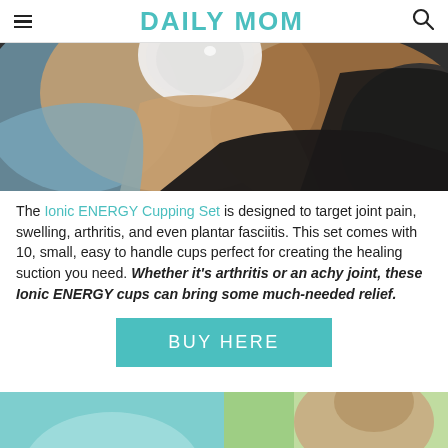DAILY MOM
[Figure (photo): Close-up photo of a cupping therapy cup being applied to a person's shoulder/skin]
The Ionic ENERGY Cupping Set is designed to target joint pain, swelling, arthritis, and even plantar fasciitis. This set comes with 10, small, easy to handle cups perfect for creating the healing suction you need. Whether it's arthritis or an achy joint, these Ionic ENERGY cups can bring some much-needed relief.
[Figure (other): BUY HERE button in teal/turquoise color]
[Figure (photo): Two partial photos at the bottom of the page - left appears to be a light blue/teal background, right appears to show a woman's face with dark hair against greenery]